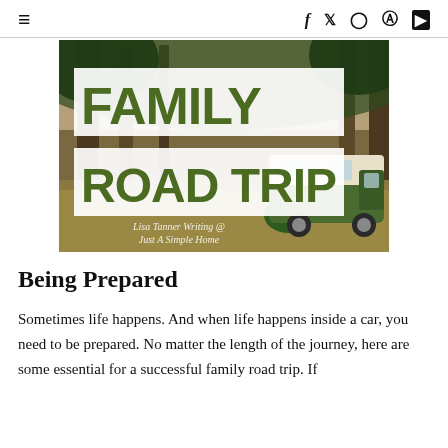≡  f  𝕏  📷  𝗽  ▶
[Figure (illustration): Family Road Trip blog post hero image showing a green VW camper van parked in a pine forest with large bold olive-green text reading FAMILY ROAD TRIP on white background boxes, and script watermark text reading Lisa Tanner Writing @ Just A Simple Home]
Being Prepared
Sometimes life happens. And when life happens inside a car, you need to be prepared. No matter the length of the journey, here are some essential for a successful family road trip. If